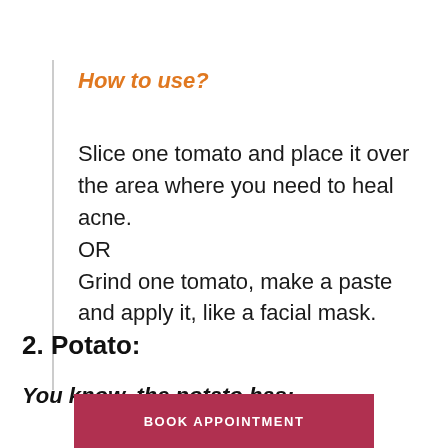How to use?
Slice one tomato and place it over the area where you need to heal acne.
OR
Grind one tomato, make a paste and apply it, like a facial mask.
2. Potato:
You know, the potato has:
BOOK APPOINTMENT